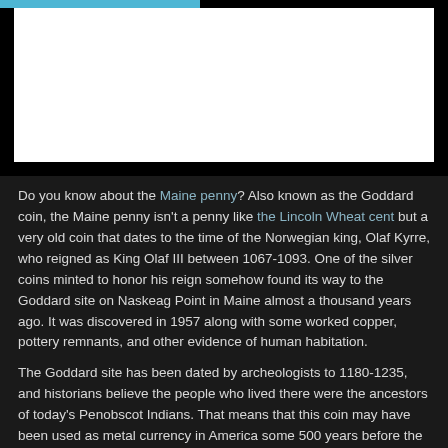[Figure (photo): A large image area with a black background and a white inner rectangle representing an image placeholder. A light blue bar appears at the top left.]
Do you know about the Maine penny? Also known as the Goddard coin, the Maine penny isn't a penny like the Lincoln Wheat cent but a very old coin that dates to the time of the Norwegian king, Olaf Kyrre, who reigned as King Olaf III between 1067-1093. One of the silver coins minted to honor his reign somehow found its way to the Goddard site on Naskeag Point in Maine almost a thousand years ago. It was discovered in 1957 along with some worked copper, pottery remnants, and other evidence of human habitation.
The Goddard site has been dated by archeologists to 1180-1235, and historians believe the people who lived there were the ancestors of today's Penobscot Indians. That means that this coin may have been used as metal currency in America some 500 years before the next New England silver coins, including the Pinetree shilling, were minted. What was going on that this coin could have been left behind there?